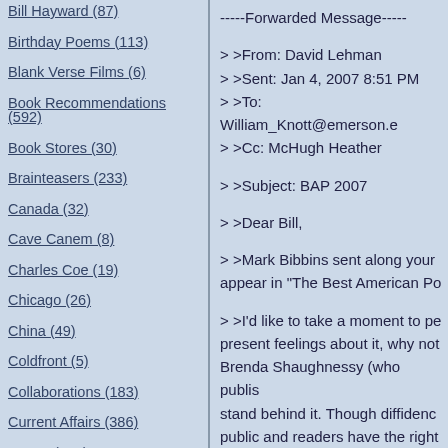Bill Hayward (87)
Birthday Poems (113)
Blank Verse Films (6)
Book Recommendations (592)
Book Stores (30)
Brainteasers (233)
Canada (32)
Cave Canem (8)
Charles Coe (19)
Chicago (26)
China (49)
Coldfront (5)
Collaborations (183)
Current Affairs (386)
Dance (154)
Daniel Nester (51)
Dante Di Stefano (72)
David Yezzi (30)
-----Forwarded Message-----
> >From: David Lehman
> >Sent: Jan 4, 2007 8:51 PM
> >To: William_Knott@emerson.e
> >Cc: McHugh Heather
> >Subject: BAP 2007
> >Dear Bill,
> >Mark Bibbins sent along your appear in "The Best American Po
> >I'd like to take a moment to pe present feelings about it, why not Brenda Shaughnessy (who publis stand behind it. Though diffidenc public and readers have the right sincere in saying that your poem
> >I am going to copy Heather M